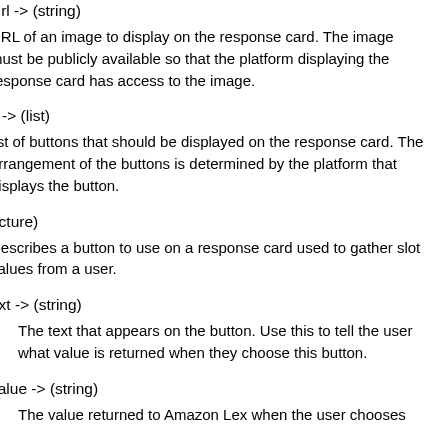Url -> (string)
URL of an image to display on the response card. The image must be publicly available so that the platform displaying the response card has access to the image.
s -> (list)
list of buttons that should be displayed on the response card. The arrangement of the buttons is determined by the platform that displays the button.
ucture)
Describes a button to use on a response card used to gather slot values from a user.
ext -> (string)
The text that appears on the button. Use this to tell the user what value is returned when they choose this button.
value -> (string)
The value returned to Amazon Lex when the user chooses